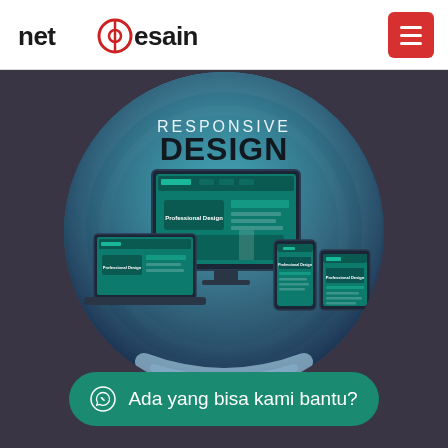net desain — navigation header with logo and menu button
[Figure (illustration): Circular framed illustration of responsive web design showing a desktop monitor, laptop, tablet and smartphone displaying a 'Professional Design' website mockup with text 'RESPONSIVE DESIGN' overlaid at top]
Ada yang bisa kami bantu?